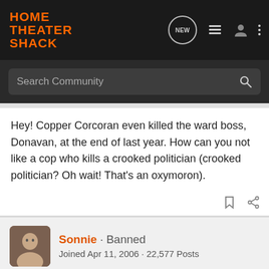[Figure (screenshot): Home Theater Shack website logo in orange text on dark background navigation bar with NEW chat bubble icon, list icon, user icon, and dots menu icon]
Search Community
Hey! Copper Corcoran even killed the ward boss, Donavan, at the end of last year. How can you not like a cop who kills a crooked politician (crooked politician? Oh wait! That's an oxymoron).
Sonnie · Banned
Joined Apr 11, 2006 · 22,577 Posts
Discussion Starter · #129 · Oct 20, 2013
Actually I think "honest politician" would be an oxymoron